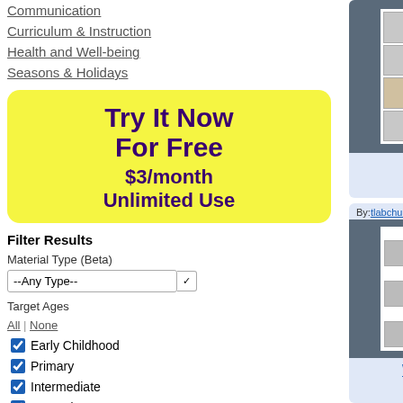Communication
Curriculum & Instruction
Health and Well-being
Seasons & Holidays
[Figure (infographic): Yellow rounded rectangle advertisement: 'Try It Now For Free $3/month Unlimited Use' in dark purple bold text]
Filter Results
Material Type (Beta)
--Any Type--
Target Ages
All | None
Early Childhood
Primary
Intermediate
Secondary
[Figure (screenshot): Card showing hand washing picture grid with grey background]
Hand Washing
[Figure (screenshot): Card showing partial second resource on right side with numbers 1-7]
[Figure (screenshot): Card for 'Washing Hands' resource by tlabchuk1, 2020-03-12, showing washing hands strips with Free Sample badge]
Washing Hands
[Figure (screenshot): Partial card for another resource by eps127 on the right]